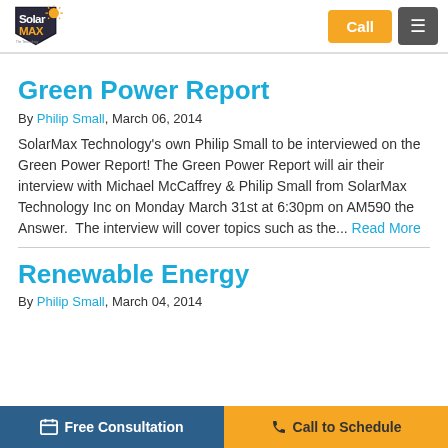SolarMax logo, Call button, Menu button
Green Power Report
By Philip Small, March 06, 2014
SolarMax Technology's own Philip Small to be interviewed on the Green Power Report! The Green Power Report will air their interview with Michael McCaffrey & Philip Small from SolarMax Technology Inc on Monday March 31st at 6:30pm on AM590 the Answer.  The interview will cover topics such as the... Read More
Renewable Energy
By Philip Small, March 04, 2014
Free Consultation | Call to Schedule